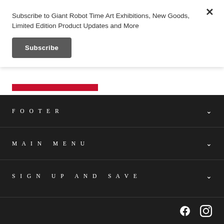Subscribe to Giant Robot Time Art Exhibitions, New Goods, Limited Edition Product Updates and More
Subscribe
FOOTER
MAIN MENU
SIGN UP AND SAVE
[Figure (infographic): Social media icons: Facebook and Instagram in white on dark background]